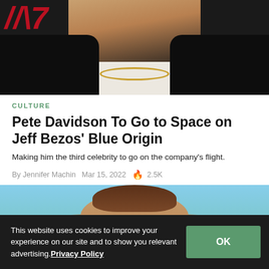[Figure (photo): Photo of a young man with short hair wearing a black blazer over a white shirt with a gold chain necklace, standing in front of a dark background with red stylized lettering/logo visible at top left.]
CULTURE
Pete Davidson To Go to Space on Jeff Bezos' Blue Origin
Making him the third celebrity to go on the company's flight.
By Jennifer Machin  Mar 15, 2022  🔥 2.5K
[Figure (photo): Photo of a woman with long brown hair outdoors with a blue sky and sandy/rocky hills in the background.]
This website uses cookies to improve your experience on our site and to show you relevant advertising.Privacy Policy